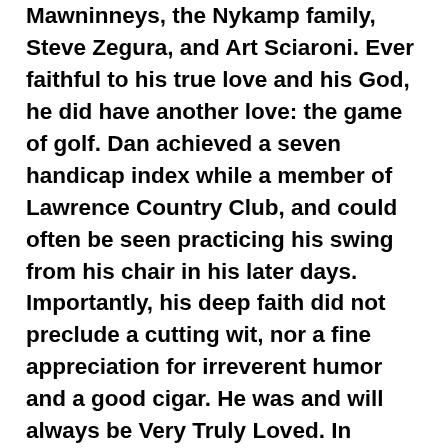Mawninneys, the Nykamp family, Steve Zegura, and Art Sciaroni. Ever faithful to his true love and his God, he did have another love: the game of golf. Dan achieved a seven handicap index while a member of Lawrence Country Club, and could often be seen practicing his swing from his chair in his later days. Importantly, his deep faith did not preclude a cutting wit, nor a fine appreciation for irreverent humor and a good cigar. He was and will always be Very Truly Loved. In honor of Dr. Bays' passion for Chinese studies, memorials are preferred to the Bays-Herzberg China Semester Abroad Scholarship, calvin.edu/go/give. Gifts can be specified to the Bays-Herzberg China Semester Abroad Scholarship, with an option to designate in memorial of Dan. Friends and family are welcome to celebrate Dan's life on Sunday May 19 at the Kutis Funeral